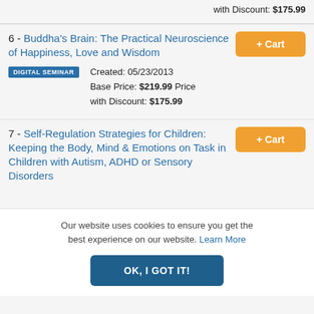with Discount: $175.99
6 - Buddha's Brain: The Practical Neuroscience of Happiness, Love and Wisdom
DIGITAL SEMINAR
Created: 05/23/2013
Base Price: $219.99 Price with Discount: $175.99
7 - Self-Regulation Strategies for Children: Keeping the Body, Mind & Emotions on Task in Children with Autism, ADHD or Sensory Disorders
Our website uses cookies to ensure you get the best experience on our website. Learn More
OK, I GOT IT!